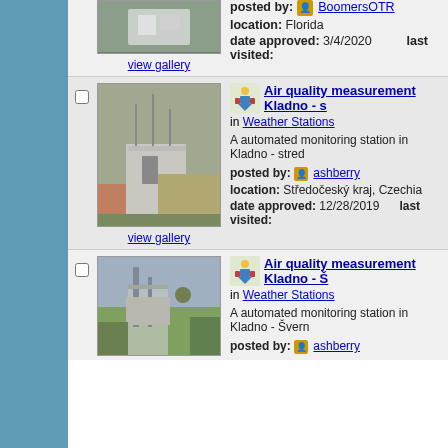posted by: BoomersOTR
location: Florida
date approved: 3/4/2020
last visited:
view gallery
[Figure (photo): Photo of a monitoring station building with fencing, partial view at top]
Air quality measurement Kladno - s
in Weather Stations
A automated monitoring station in Kladno - stred
posted by: ashberry
location: Středočeský kraj, Czechia
date approved: 12/28/2019
last visited:
view gallery
[Figure (photo): Photo of air quality monitoring station with equipment on roof, urban background]
Air quality measurement Kladno - Š
in Weather Stations
A automated monitoring station in Kladno - Švern
posted by: ashberry
[Figure (photo): Photo of monitoring station with scaffolding structure and equipment]